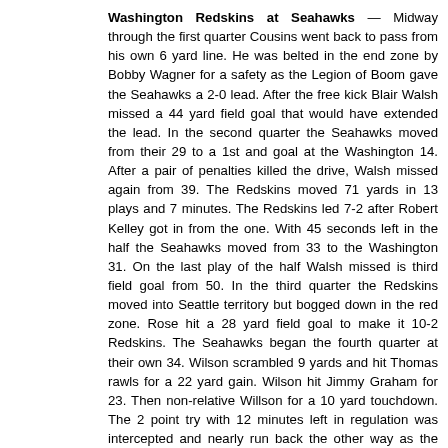Washington Redskins at Seahawks — Midway through the first quarter Cousins went back to pass from his own 6 yard line. He was belted in the end zone by Bobby Wagner for a safety as the Legion of Boom gave the Seahawks a 2-0 lead. After the free kick Blair Walsh missed a 44 yard field goal that would have extended the lead. In the second quarter the Seahawks moved from their 29 to a 1st and goal at the Washington 14. After a pair of penalties killed the drive, Walsh missed again from 39. The Redskins moved 71 yards in 13 plays and 7 minutes. The Redskins led 7-2 after Robert Kelley got in from the one. With 45 seconds left in the half the Seahawks moved from 33 to the Washington 31. On the last play of the half Walsh missed is third field goal from 50. In the third quarter the Redskins moved into Seattle territory but bogged down in the red zone. Rose hit a 28 yard field goal to make it 10-2 Redskins. The Seahawks began the fourth quarter at their own 34. Wilson scrambled 9 yards and hit Thomas rawls for a 22 yard gain. Wilson hit Jimmy Graham for 23. Then non-relative Willson for a 10 yard touchdown. The 2 point try with 12 minutes left in regulation was intercepted and nearly run back the other way as the Seahawks trailed 10-8.
Then came the Legion of Boom. On 3rd and 15 from their 17, Cousins was sacked again for the second time in 3 plays, fumbled, and the Seahawks recovered for a defensive touchdown. On further review Cousins was down, so the Redskins escaped with a punt on 4th and 28 from their own 4. The teams exchanged punts again and the Seahawks began their last chance at their own 29 with 3 minutes left. Wilson hit McKissic for 9 at the 2 minute warning. Wilson then went to graham for 13 yards. Wilson ran for 11 yards. Wilson then went deep to Doug Baldwin for a 24 yard touchdown with 90 seconds to play. For the second straight week Wilson led a miracle comeback, as Washington's stout defense broke when it mattered most. The 2 point try failed but the Seahawks led 14-10.